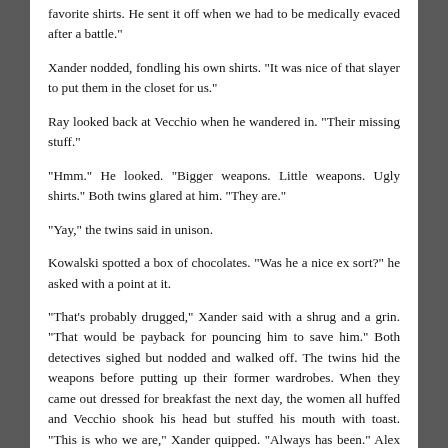favorite shirts. He sent it off when we had to be medically evaced after a battle."
Xander nodded, fondling his own shirts. "It was nice of that slayer to put them in the closet for us."
Ray looked back at Vecchio when he wandered in. "Their missing stuff."
"Hmm." He looked. "Bigger weapons. Little weapons. Ugly shirts." Both twins glared at him. "They are."
"Yay," the twins said in unison.
Kowalski spotted a box of chocolates. "Was he a nice ex sort?" he asked with a point at it.
"That's probably drugged," Xander said with a shrug and a grin. "That would be payback for pouncing him to save him." Both detectives sighed but nodded and walked off. The twins hid the weapons before putting up their former wardrobes. When they came out dressed for breakfast the next day, the women all huffed and Vecchio shook his head but stuffed his mouth with toast. "This is who we are," Xander quipped. "Always has been." Alex nodded, pouring coffee for them. "Thanks."
"Welcome." He sipped. Someone walked in. "Wow," he said, grinning at Jansen. "Huge problem?"